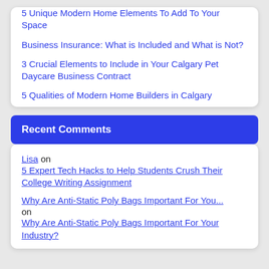5 Unique Modern Home Elements To Add To Your Space
Business Insurance: What is Included and What is Not?
3 Crucial Elements to Include in Your Calgary Pet Daycare Business Contract
5 Qualities of Modern Home Builders in Calgary
Recent Comments
Lisa on 5 Expert Tech Hacks to Help Students Crush Their College Writing Assignment
Why Are Anti-Static Poly Bags Important For You... on Why Are Anti-Static Poly Bags Important For Your Industry?